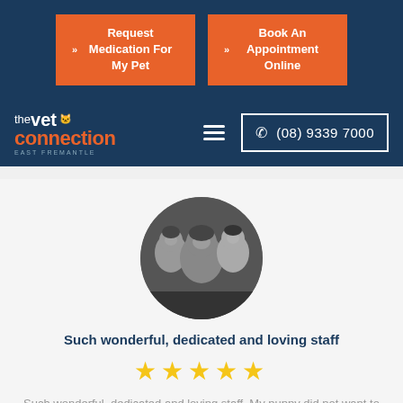[Figure (screenshot): Website header navigation bar with two orange CTA buttons: 'Request Medication For My Pet' and 'Book An Appointment Online', on dark navy background]
[Figure (logo): The Vet Connection East Fremantle logo — white and orange text with animal silhouette icon]
[Figure (photo): Circular black-and-white photo of a woman with two children smiling]
Such wonderful, dedicated and loving staff
[Figure (other): 5-star rating shown as five gold stars]
Such wonderful, dedicated and loving staff. My puppy did not want to leave. Thank you EFVC for building such a community.